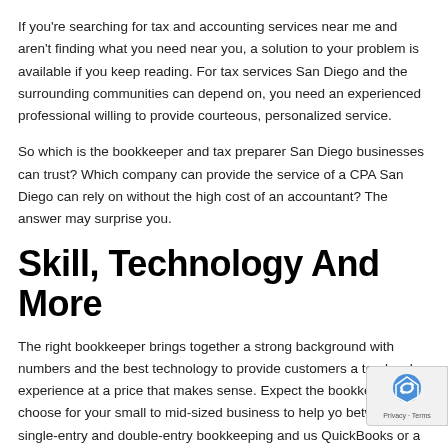If you're searching for tax and accounting services near me and aren't finding what you need near you, a solution to your problem is available if you keep reading. For tax services San Diego and the surrounding communities can depend on, you need an experienced professional willing to provide courteous, personalized service.
So which is the bookkeeper and tax preparer San Diego businesses can trust? Which company can provide the service of a CPA San Diego can rely on without the high cost of an accountant? The answer may surprise you.
Skill, Technology And More
The right bookkeeper brings together a strong background with numbers and the best technology to provide customers a top-level experience at a price that makes sense. Expect the bookkeeper you choose for your small to mid-sized business to help you between single-entry and double-entry bookkeeping and use QuickBooks or a similar software package to keep track of credits,